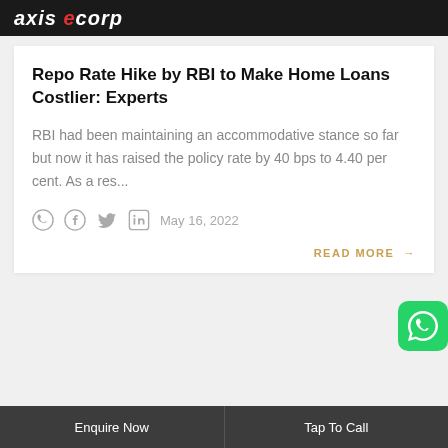axis ecorp
Repo Rate Hike by RBI to Make Home Loans Costlier: Experts
RBI had been maintaining an accommodative stance so far but now it has raised the policy rate by 40 bps to 4.40 per cent. As a res...
May 16, 2022
READ MORE →
Enquire Now   Tap To Call